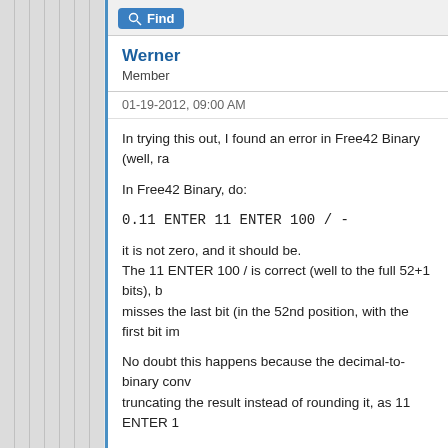Find
Werner
Member
01-19-2012, 09:00 AM
In trying this out, I found an error in Free42 Binary (well, ra
In Free42 Binary, do:
0.11  ENTER  11  ENTER  100  /  -
it is not zero, and it should be.
The 11 ENTER 100 / is correct (well to the full 52+1 bits), b
misses the last bit (in the 52nd position, with the first bit im
No doubt this happens because the decimal-to-binary conv
truncating the result instead of rounding it, as 11 ENTER 1
in HEX,
0.11d  =  0.1C28F5C28F5C28h
11d/100d  =  0.1C28F5C28F5C29h